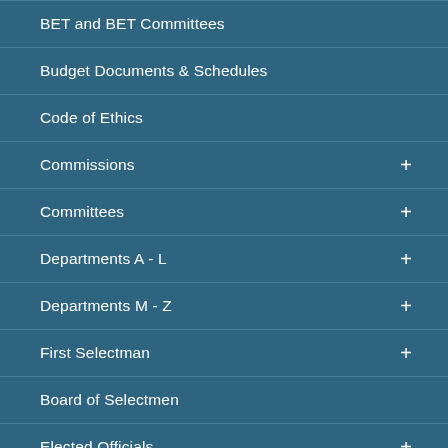BET and BET Committees
Budget Documents & Schedules
Code of Ethics
Commissions +
Committees +
Departments A - L +
Departments M - Z +
First Selectman +
Board of Selectmen
Elected Officials +